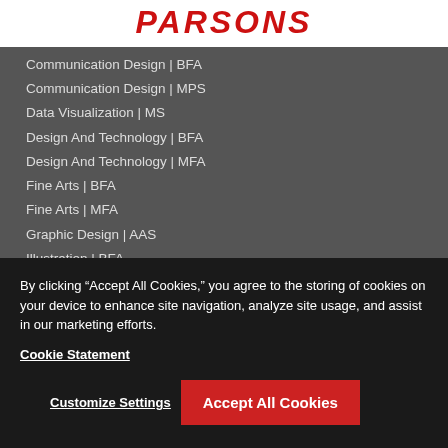PARSONS
Communication Design | BFA
Communication Design | MPS
Data Visualization | MS
Design And Technology | BFA
Design And Technology | MFA
Fine Arts | BFA
Fine Arts | MFA
Graphic Design | AAS
Illustration | BFA
Photography | BFA
Photography | MFA
By clicking “Accept All Cookies,” you agree to the storing of cookies on your device to enhance site navigation, analyze site usage, and assist in our marketing efforts.
Cookie Statement
Customize Settings
Accept All Cookies